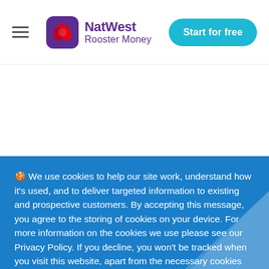NatWest Rooster Money — Start for free
🍪 We use cookies to help our site work, understand how it's used, and to deliver targeted information to existing and prospective customers. By accepting this message, you agree to the storing of cookies on your device. For more information on the cookies we use please see our Privacy Policy. If you decline, you won't be tracked when you visit this website, apart from the necessary cookies required to remember your preference.
Decline   Accept